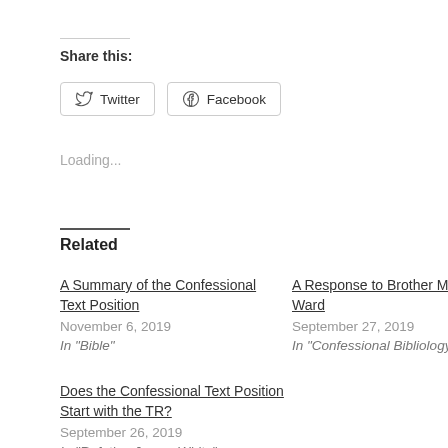Share this:
Twitter  Facebook
Loading...
Related
A Summary of the Confessional Text Position
November 6, 2019
In "Bible"
A Response to Brother Mark Ward
September 27, 2019
In "Confessional Bibliology"
Does the Confessional Text Position Start with the TR?
September 26, 2019
In "Refuting James White"